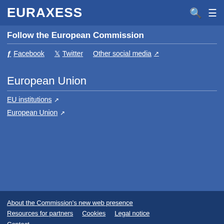EURAXESS
Follow the European Commission
Facebook
Twitter
Other social media
European Union
EU institutions
European Union
About the Commission's new web presence   Resources for partners   Cookies   Legal notice   Contact